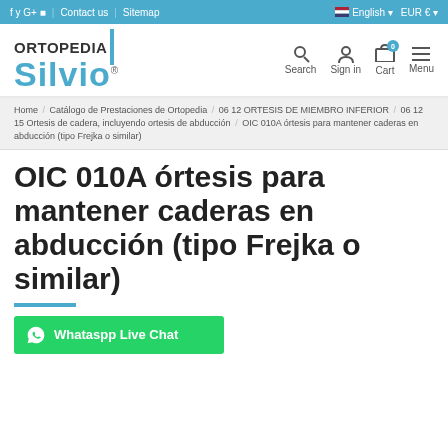f y G+ | Contact us | Sitemap | English | EUR €
[Figure (logo): Ortopedia Silvio logo with teal vertical bar and teal Silvio text]
Search  Sign in  Cart  Menu
Home / Catálogo de Prestaciones de Ortopedia / 06 12 ORTESIS DE MIEMBRO INFERIOR / 06 12 15 Ortesis de cadera, incluyendo ortesis de abducción / OIC 010A órtesis para mantener caderas en abducción (tipo Frejka o similar)
OIC 010A órtesis para mantener caderas en abducción (tipo Frejka o similar)
Whataspp Live Chat